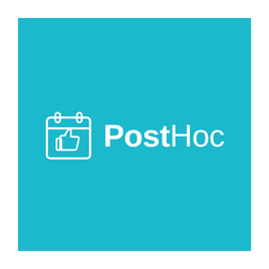[Figure (logo): PostHoc logo on a teal/cyan background. White calendar icon with thumbs-up symbol on the left, followed by white bold text 'Post' and lighter weight text 'Hoc'.]